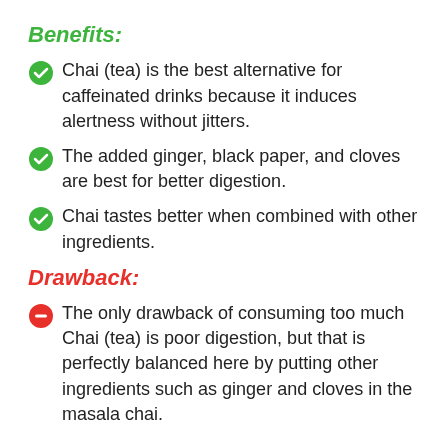Benefits:
Chai (tea) is the best alternative for caffeinated drinks because it induces alertness without jitters.
The added ginger, black paper, and cloves are best for better digestion.
Chai tastes better when combined with other ingredients.
Drawback:
The only drawback of consuming too much Chai (tea) is poor digestion, but that is perfectly balanced here by putting other ingredients such as ginger and cloves in the masala chai.